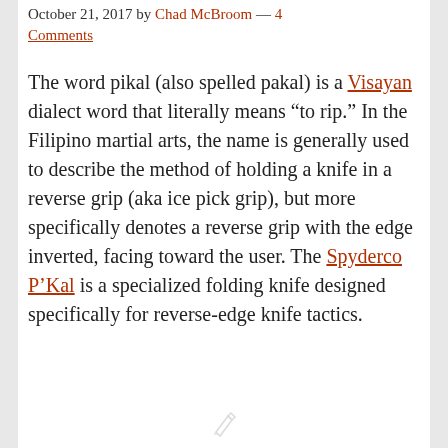October 21, 2017 by Chad McBroom — 4 Comments
The word pikal (also spelled pakal) is a Visayan dialect word that literally means “to rip.” In the Filipino martial arts, the name is generally used to describe the method of holding a knife in a reverse grip (aka ice pick grip), but more specifically denotes a reverse grip with the edge inverted, facing toward the user. The Spyderco P’Kal is a specialized folding knife designed specifically for reverse-edge knife tactics.